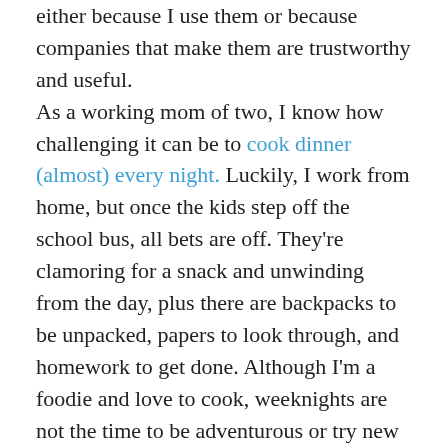either because I use them or because companies that make them are trustworthy and useful. As a working mom of two, I know how challenging it can be to cook dinner (almost) every night. Luckily, I work from home, but once the kids step off the school bus, all bets are off. They're clamoring for a snack and unwinding from the day, plus there are backpacks to be unpacked, papers to look through, and homework to get done. Although I'm a foodie and love to cook, weeknights are not the time to be adventurous or try new recipes. I have to rely on healthy, 30 minute meals if it's going work.
Between after-school activities, doctors' appointments or Target runs for the